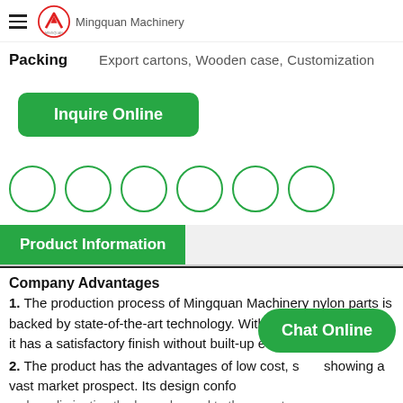Mingquan Machinery
Packing   Export cartons, Wooden case, Customization
Inquire Online
[Figure (other): Six empty circles in a row (social media or share icons)]
Product Information
Company Advantages
1. The production process of Mingquan Machinery nylon parts is backed by state-of-the-art technology. With machinable material, it has a satisfactory finish without built-up edges
2. The product has the advantages of low cost, showing a vast market prospect. Its design conforms to the safety codes, eliminating the hazard posed to the operator.
Chat Online